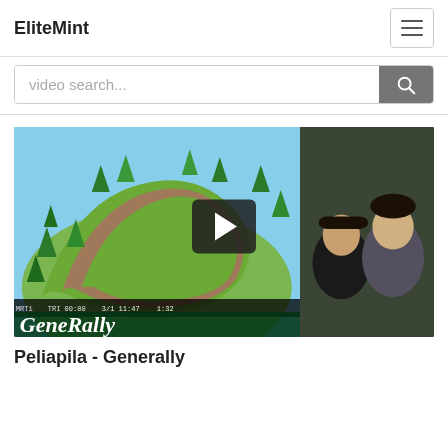EliteMint
video search...
[Figure (screenshot): Video thumbnail for 'Peliapila - Generally' showing a GeneRally racing game overhead view on the left and a webcam of two people on the right, with a play button overlay in the center]
Peliapila - Generally